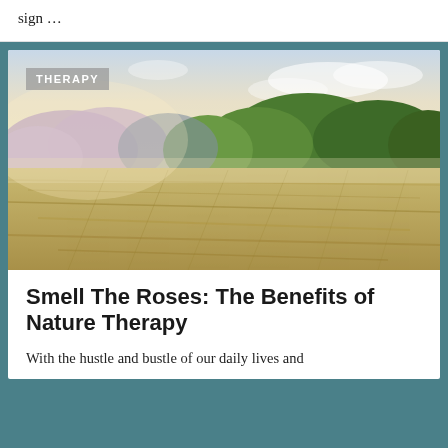sign …
[Figure (photo): Outdoor landscape photo with a golden field in the foreground and a treeline of green and purple-tinted trees in the background under a hazy sky. A 'THERAPY' label badge is overlaid on the top-left corner of the image.]
Smell The Roses: The Benefits of Nature Therapy
With the hustle and bustle of our daily lives and